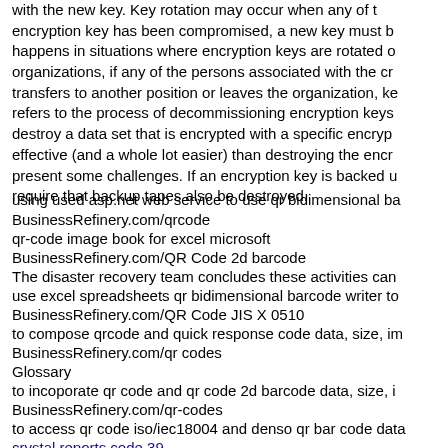with the new key. Key rotation may occur when any of the encryption key has been compromised, a new key must be happens in situations where encryption keys are rotated organizations, if any of the persons associated with the cr transfers to another position or leaves the organization, ke refers to the process of decommissioning encryption keys destroy a data set that is encrypted with a specific encrypt effective (and a whole lot easier) than destroying the encr present some challenges. If an encryption key is backed u require that backup tapes also be destroyed.
using used asp.net web service to use qr bidimensional ba
BusinessRefinery.com/qrcode
qr-code image book for excel microsoft
BusinessRefinery.com/QR Code 2d barcode
The disaster recovery team concludes these activities cann
use excel spreadsheets qr bidimensional barcode writer to
BusinessRefinery.com/QR Code JIS X 0510
to compose qrcode and quick response code data, size, im
BusinessRefinery.com/qr codes
Glossary
to incoporate qr code and qr code 2d barcode data, size, i
BusinessRefinery.com/qr-codes
to access qr code iso/iec18004 and denso qr bar code data
BusinessRefinery.com/qr-codes
h 1 0.75 0.5 0.25 0.25 0.5 0.75 1
crystal reports code 39